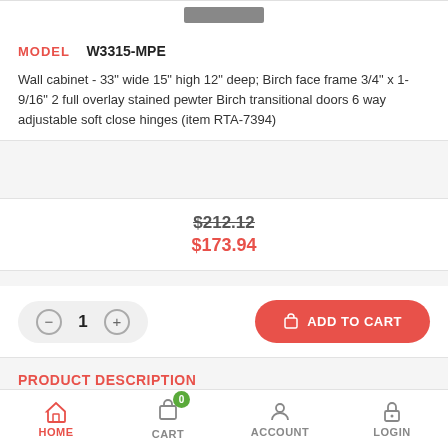MODEL  W3315-MPE
Wall cabinet - 33" wide 15" high 12" deep; Birch face frame 3/4" x 1-9/16" 2 full overlay stained pewter Birch transitional doors 6 way adjustable soft close hinges (item RTA-7394)
$212.12
$173.94
1
ADD TO CART
PRODUCT DESCRIPTION
[Figure (illustration): Wall cabinet product illustration - sketch style line drawing with a dark pewter door panel]
HOME   CART (0)   ACCOUNT   LOGIN